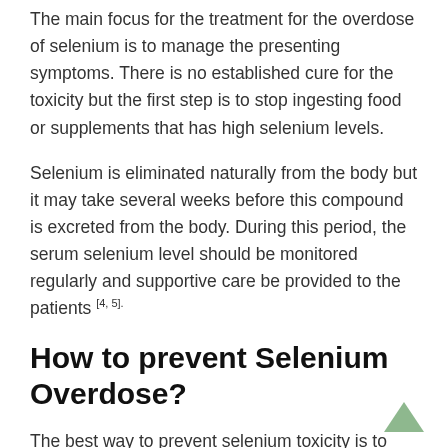The main focus for the treatment for the overdose of selenium is to manage the presenting symptoms. There is no established cure for the toxicity but the first step is to stop ingesting food or supplements that has high selenium levels.
Selenium is eliminated naturally from the body but it may take several weeks before this compound is excreted from the body. During this period, the serum selenium level should be monitored regularly and supportive care be provided to the patients [4, 5].
How to prevent Selenium Overdose?
The best way to prevent selenium toxicity is to avoid taking in selenium supplements. This mineral should be obtained from a diverse diet in order to keep the serum level within the normal range.